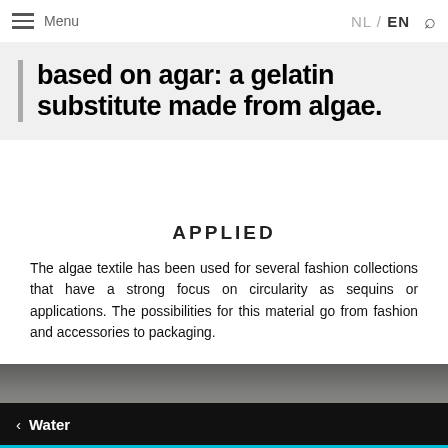Menu  NL / EN
based on agar: a gelatin substitute made from algae.
APPLIED
The algae textile has been used for several fashion collections that have a strong focus on circularity as sequins or applications. The possibilities for this material go from fashion and accessories to packaging.
[Figure (photo): Partial view of a dark grey/olive colored background, appears to be a photo of algae-based textile material]
< Water